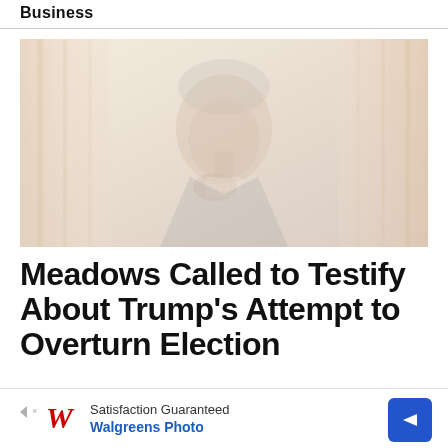Business
[Figure (photo): Faded/washed-out photo of a man in a dark suit, appears to be thinking with hand near chin, against a light curtained background]
Meadows Called to Testify About Trump's Attempt to Overturn Election
[Figure (other): Walgreens Photo advertisement banner: Satisfaction Guaranteed, Walgreens Photo, with Walgreens W logo and blue navigation arrow]